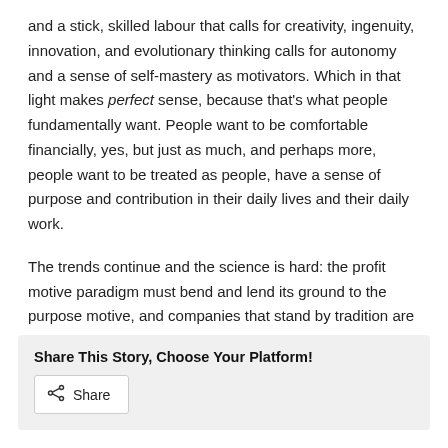and a stick, skilled labour that calls for creativity, ingenuity, innovation, and evolutionary thinking calls for autonomy and a sense of self-mastery as motivators. Which in that light makes perfect sense, because that's what people fundamentally want. People want to be comfortable financially, yes, but just as much, and perhaps more, people want to be treated as people, have a sense of purpose and contribution in their daily lives and their daily work.
The trends continue and the science is hard: the profit motive paradigm must bend and lend its ground to the purpose motive, and companies that stand by tradition are going to fall behind and be out-competed at near every level. There is a world of collaboration out there and unforeseen opportunities arising. We have to reach them together.
Share This Story, Choose Your Platform!